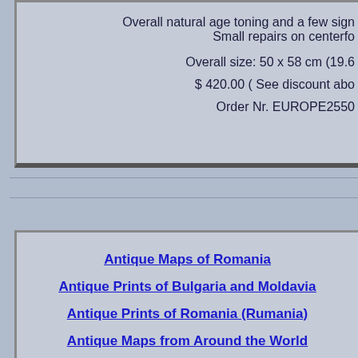Overall natural age toning and a few sign... Small repairs on centerfo...
Overall size: 50 x 58 cm (19.6...
$ 420.00 ( See discount abo...
Order Nr. EUROPE2550...
Antique Maps of Romania
Antique Prints of Bulgaria and Moldavia
Antique Prints of Romania (Rumania)
Antique Maps from Around the World
Ordering and Payment